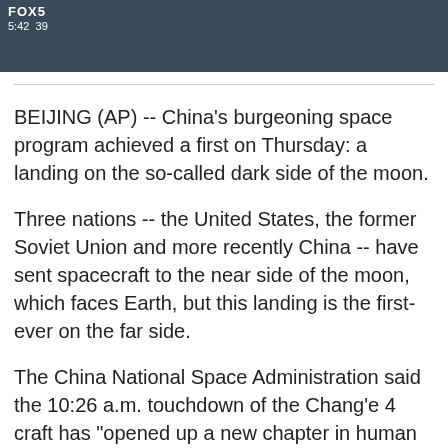[Figure (screenshot): TV screenshot showing a dark/grey surface (moon), with FOX5 logo in top-left and timestamp 5:42 39]
BEIJING (AP) -- China's burgeoning space program achieved a first on Thursday: a landing on the so-called dark side of the moon.
Three nations -- the United States, the former Soviet Union and more recently China -- have sent spacecraft to the near side of the moon, which faces Earth, but this landing is the first-ever on the far side.
The China National Space Administration said the 10:26 a.m. touchdown of the Chang'e 4 craft has "opened up a new chapter in human lunar exploration."
A photo taken at 11:40 a.m. and sent back by Chang'e 4